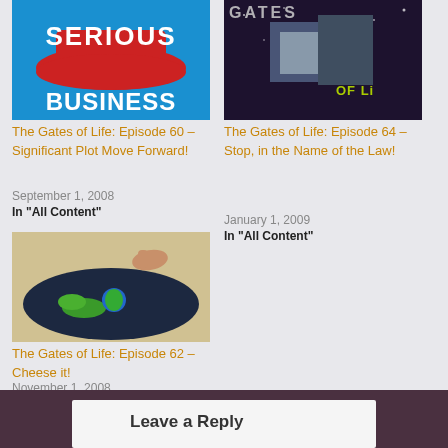[Figure (illustration): Blue cartoon image with red hat and text 'SERIOUS BUSINESS']
The Gates of Life: Episode 60 – Significant Plot Move Forward!
September 1, 2008
In "All Content"
[Figure (photo): Stylized game title image reading GATES OF LIFE with OF LI visible, dark space-like background]
The Gates of Life: Episode 64 – Stop, in the Name of the Law!
January 1, 2009
In "All Content"
[Figure (illustration): Game map image showing dark oval area with green landmasses and a small character, on parchment background]
The Gates of Life: Episode 62 – Cheese it!
November 1, 2008
In "All Content"
Leave a Reply